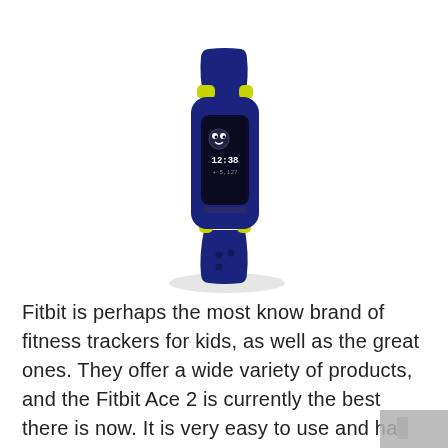[Figure (photo): Fitbit Ace 2 kids fitness tracker wristband in navy blue with yellow-green accents, showing a small OLED display with a cartoon character and time, photographed at an angle on a white background with a soft shadow beneath.]
Fitbit is perhaps the most know brand of fitness trackers for kids, as well as the great ones. They offer a wide variety of products, and the Fitbit Ace 2 is currently the best there is now. It is very easy to use and has great customer reviews.